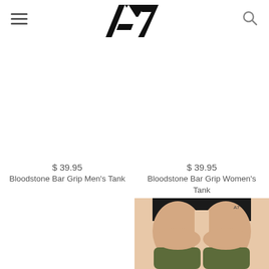[Figure (logo): A7 brand logo — stylized letter A with a triangle cutout and number 7]
$ 39.95
Bloodstone Bar Grip Men's Tank
$ 39.95
Bloodstone Bar Grip Women's Tank
[Figure (photo): Lower body of a person wearing black shorts and olive/army green knee sleeves, showing thighs and knees]